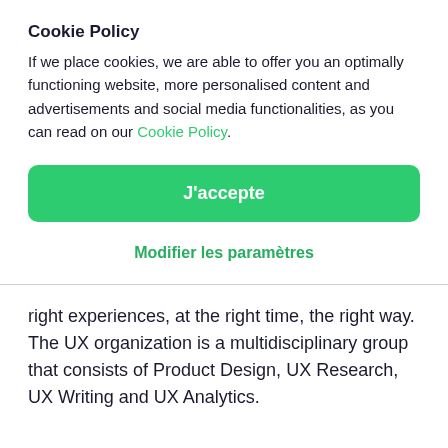Cookie Policy
If we place cookies, we are able to offer you an optimally functioning website, more personalised content and advertisements and social media functionalities, as you can read on our Cookie Policy.
J'accepte
Modifier les paramètres
right experiences, at the right time, the right way. The UX organization is a multidisciplinary group that consists of Product Design, UX Research, UX Writing and UX Analytics.